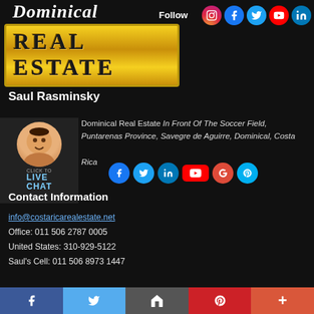[Figure (logo): Dominical Real Estate logo: 'Dominical' in italic script above a gold bordered box containing 'REAL ESTATE' in bold uppercase letters]
Follow
[Figure (infographic): Social media follow icons: Instagram, Facebook, Twitter, YouTube, LinkedIn]
Saul Rasminsky
[Figure (photo): Live chat avatar: woman's photo in circle with 'CLICK TO LIVE CHAT' label]
Dominical Real Estate In Front Of The Soccer Field, Puntarenas Province, Savegre de Aguirre, Dominical, Costa Rica
[Figure (infographic): Small social media icons row: Facebook, Twitter, LinkedIn, YouTube, Google+, Skype]
Contact Information
info@costaricarealestate.net
Office: 011 506 2787 0005
United States: 310-929-5122
Saul's Cell: 011 506 8973 1447
Site Navigation
[Figure (infographic): Bottom share bar with Facebook, Twitter, share/email, Pinterest, and more (+) buttons]